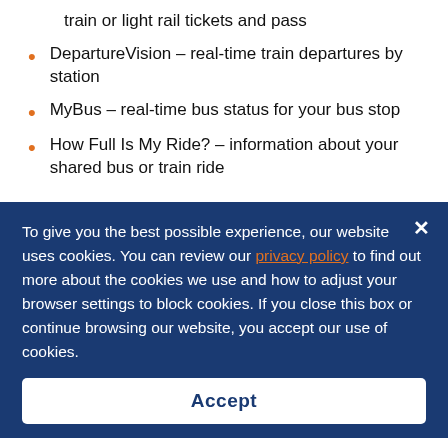train or light rail tickets and pass
DepartureVision – real-time train departures by station
MyBus – real-time bus status for your bus stop
How Full Is My Ride? – information about your shared bus or train ride
To give you the best possible experience, our website uses cookies. You can review our privacy policy to find out more about the cookies we use and how to adjust your browser settings to block cookies. If you close this box or continue browsing our website, you accept our use of cookies.
Accept